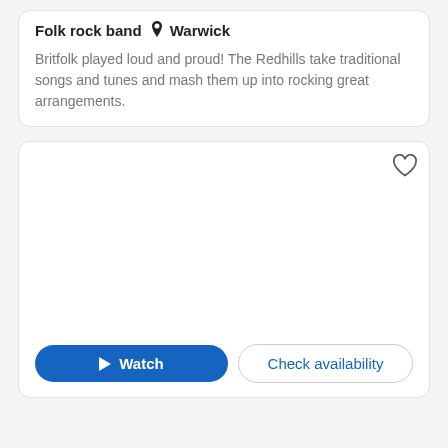Folk rock band  📍 Warwick
Britfolk played loud and proud! The Redhills take traditional songs and tunes and mash them up into rocking great arrangements.
[Figure (other): Media card with heart/favorite icon in top right corner and a large blank white media area, followed by a Watch button and Check availability button at the bottom.]
Watch
Check availability